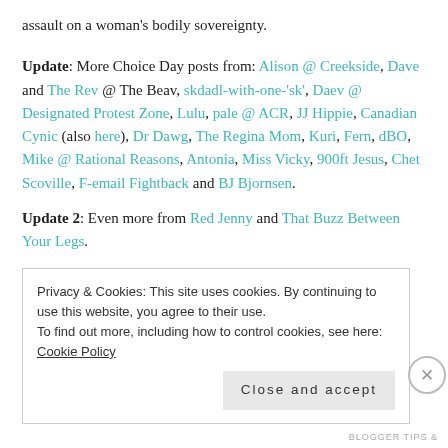assault on a woman’s bodily sovereignty.
Update: More Choice Day posts from: Alison @ Creekside, Dave and The Rev @ The Beav, skdadl-with-one-‘sk’, Daev @ Designated Protest Zone, Lulu, pale @ ACR, JJ Hippie, Canadian Cynic (also here), Dr Dawg, The Regina Mom, Kuri, Fern, dBO, Mike @ Rational Reasons, Antonia, Miss Vicky, 900ft Jesus, Chet Scoville, F-email Fightback and BJ Bjornsen.
Update 2: Even more from Red Jenny and That Buzz Between Your Legs.
Privacy & Cookies: This site uses cookies. By continuing to use this website, you agree to their use.
To find out more, including how to control cookies, see here: Cookie Policy
Close and accept